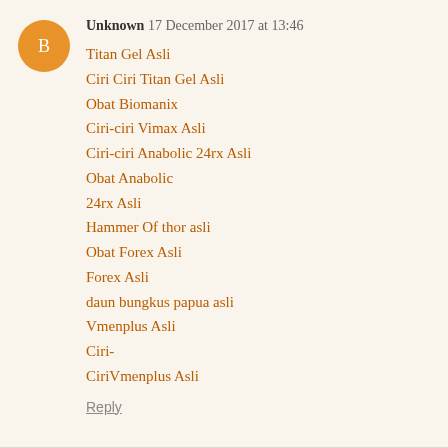Unknown 17 December 2017 at 13:46
Titan Gel Asli
Ciri Ciri Titan Gel Asli
Obat Biomanix
Ciri-ciri Vimax Asli
Ciri-ciri Anabolic 24rx Asli
Obat Anabolic
24rx Asli
Hammer Of thor asli
Obat Forex Asli
Forex Asli
daun bungkus papua asli
Vmenplus Asli
Ciri-CiriVmenplus Asli
Reply
teguh wibowo 9 January 2018 at 06:19
Obat Sipilis